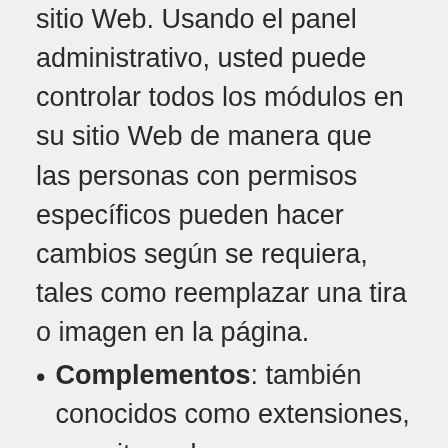sitio Web. Usando el panel administrativo, usted puede controlar todos los módulos en su sitio Web de manera que las personas con permisos específicos pueden hacer cambios según se requiera, tales como reemplazar una tira o imagen en la página.
Complementos: también conocidos como extensiones, permiten a las personas controlar aún más su propio contenido según se necesite. Al final, el resultado depende de lo que el complemento tenga que hacer, pero típicamente se enfoca en elementos